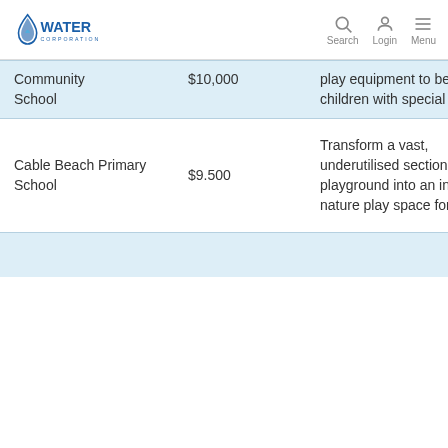Water Corporation — Search Login Menu
| School | Amount | Description |
| --- | --- | --- |
| Community School | $10,000 | play equipment to benefit children with special needs. |
| Cable Beach Primary School | $9,500 | Transform a vast, underutilised section of playground into an inviting nature play space for children. |
|  |  |  |